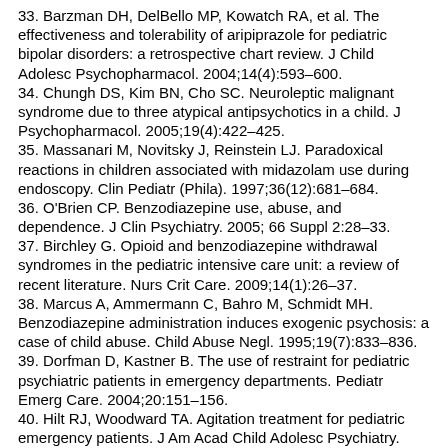33. Barzman DH, DelBello MP, Kowatch RA, et al. The effectiveness and tolerability of aripiprazole for pediatric bipolar disorders: a retrospective chart review. J Child Adolesc Psychopharmacol. 2004;14(4):593–600.
34. Chungh DS, Kim BN, Cho SC. Neuroleptic malignant syndrome due to three atypical antipsychotics in a child. J Psychopharmacol. 2005;19(4):422–425.
35. Massanari M, Novitsky J, Reinstein LJ. Paradoxical reactions in children associated with midazolam use during endoscopy. Clin Pediatr (Phila). 1997;36(12):681–684.
36. O'Brien CP. Benzodiazepine use, abuse, and dependence. J Clin Psychiatry. 2005; 66 Suppl 2:28–33.
37. Birchley G. Opioid and benzodiazepine withdrawal syndromes in the pediatric intensive care unit: a review of recent literature. Nurs Crit Care. 2009;14(1):26–37.
38. Marcus A, Ammermann C, Bahro M, Schmidt MH. Benzodiazepine administration induces exogenic psychosis: a case of child abuse. Child Abuse Negl. 1995;19(7):833–836.
39. Dorfman D, Kastner B. The use of restraint for pediatric psychiatric patients in emergency departments. Pediatr Emerg Care. 2004;20:151–156.
40. Hilt RJ, Woodward TA. Agitation treatment for pediatric emergency patients. J Am Acad Child Adolesc Psychiatry. 2008;47(2):132–138.
41. Connor DF, Steingard RJ, Cunningham JA, et al. Proactive and reactive aggression in referred children and adolescents. Am J Orthopsychiatry. 2004;74(2):129–136.